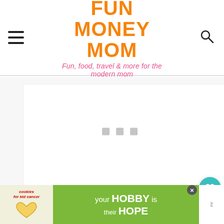FUN MONEY MOM — Fun food, travel & more for the modern mom
[Figure (screenshot): Large white blank/loading image area with three small grey square loading indicator dots in the center]
[Figure (infographic): Teal circular save/heart button and white circular share button floating on right side]
[Figure (infographic): What's Next panel showing thumbnail and title 'How To Make A DIY Photo...']
I started by painting the heart with a white acrylic paint. Most of the heart
[Figure (photo): Advertisement banner: cookies for kid cancer with heart-shaped cookie image; 'your HOBBY is their HOPE' on green background]